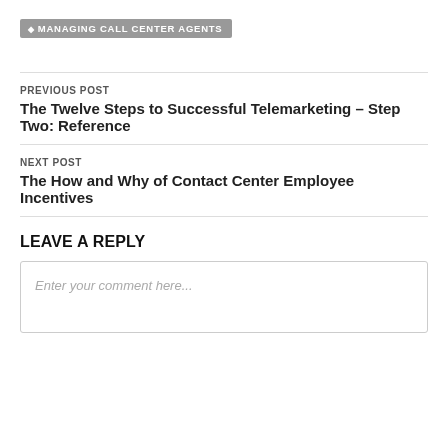MANAGING CALL CENTER AGENTS
PREVIOUS POST
The Twelve Steps to Successful Telemarketing – Step Two: Reference
NEXT POST
The How and Why of Contact Center Employee Incentives
LEAVE A REPLY
Enter your comment here...